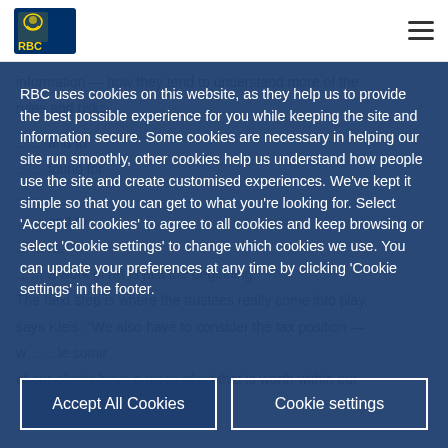RBC logo and navigation header
RBC uses cookies on this website, as they help us to provide the best possible experience for you while keeping the site and information secure. Some cookies are necessary in helping our site run smoothly, other cookies help us understand how people use the site and create customised experiences. We've kept it simple so that you can get to what you're looking for. Select 'Accept all cookies' to agree to all cookies and keep browsing or select 'Cookie settings' to change which cookies we use. You can update your preferences at any time by clicking 'Cookie settings' in the footer.
Accept All Cookies
Cookie settings